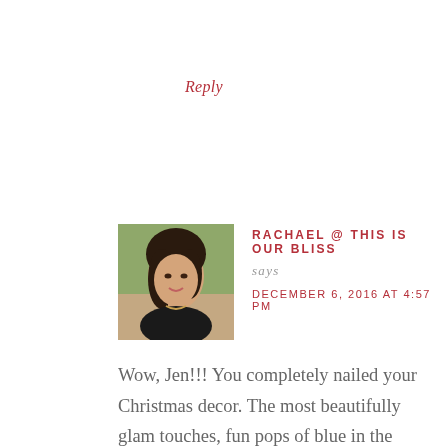Reply
[Figure (photo): Profile photo of Rachael, a woman with dark hair wearing a dark top, photographed outdoors]
RACHAEL @ THIS IS OUR BLISS
says
DECEMBER 6, 2016 AT 4:57 PM
Wow, Jen!!! You completely nailed your Christmas decor. The most beautifully glam touches, fun pops of blue in the family room and your bedroom?! YESS!! Your home office shots stole my heart. The styling in front of the tree and that